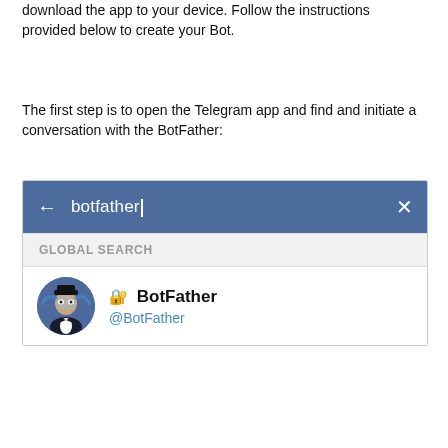download the app to your device. Follow the instructions provided below to create your Bot.
The first step is to open the Telegram app and find and initiate a conversation with the BotFather:
[Figure (screenshot): Telegram app screenshot showing a search bar with 'botfather' typed in, a 'GLOBAL SEARCH' label, and a search result showing BotFather with @BotFather handle.]